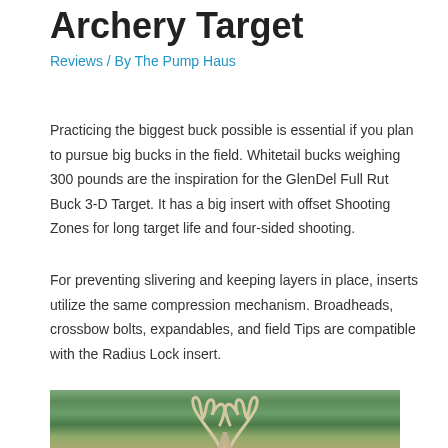Archery Target
Reviews / By The Pump Haus
Practicing the biggest buck possible is essential if you plan to pursue big bucks in the field. Whitetail bucks weighing 300 pounds are the inspiration for the GlenDel Full Rut Buck 3-D Target. It has a big insert with offset Shooting Zones for long target life and four-sided shooting.
For preventing slivering and keeping layers in place, inserts utilize the same compression mechanism. Broadheads, crossbow bolts, expandables, and field Tips are compatible with the Radius Lock insert.
[Figure (photo): Photo of a large buck archery target with prominent antlers set against a backdrop of green trees and foliage outdoors.]